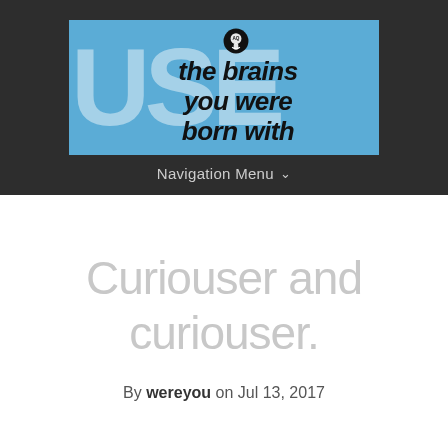[Figure (logo): Website banner logo with blue background, large white 'USE' letters behind text reading 'the brains you were born with' in bold italic black font, with a small brain/head icon]
Navigation Menu ▾
Curiouser and curiouser.
By wereyou on Jul 13, 2017